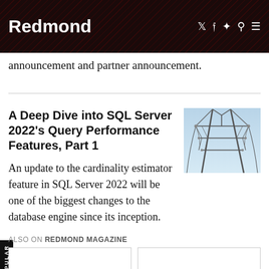Redmond
announcement and partner announcement.
A Deep Dive into SQL Server 2022's Query Performance Features, Part 1
[Figure (photo): Electrical transmission towers with cables against a blue sky, viewed from below at an angle.]
An update to the cardinality estimator feature in SQL Server 2022 will be one of the biggest changes to the database engine since its inception.
ALSO ON REDMOND MAGAZINE